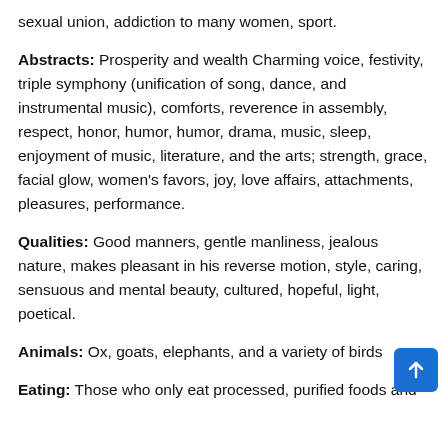sexual union, addiction to many women, sport.
Abstracts: Prosperity and wealth Charming voice, festivity, triple symphony (unification of song, dance, and instrumental music), comforts, reverence in assembly, respect, honor, humor, humor, drama, music, sleep, enjoyment of music, literature, and the arts; strength, grace, facial glow, women's favors, joy, love affairs, attachments, pleasures, performance.
Qualities: Good manners, gentle manliness, jealous nature, makes pleasant in his reverse motion, style, caring, sensuous and mental beauty, cultured, hopeful, light, poetical.
Animals: Ox, goats, elephants, and a variety of birds
Eating: Those who only eat processed, purified foods and